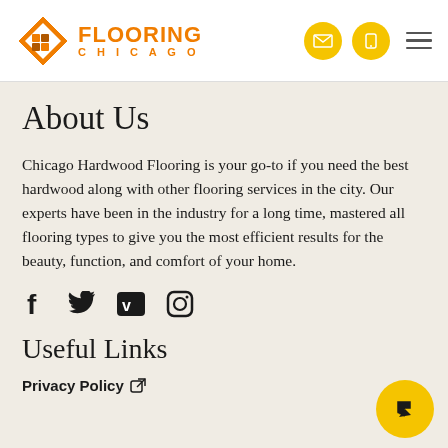[Figure (logo): Flooring Chicago logo with diamond tile icon and orange text]
About Us
Chicago Hardwood Flooring is your go-to if you need the best hardwood along with other flooring services in the city. Our experts have been in the industry for a long time, mastered all flooring types to give you the most efficient results for the beauty, function, and comfort of your home.
[Figure (infographic): Social media icons: Facebook, Twitter, Vimeo, Instagram]
Useful Links
Privacy Policy
[Figure (infographic): Yellow circular floating action button with arrow icon]